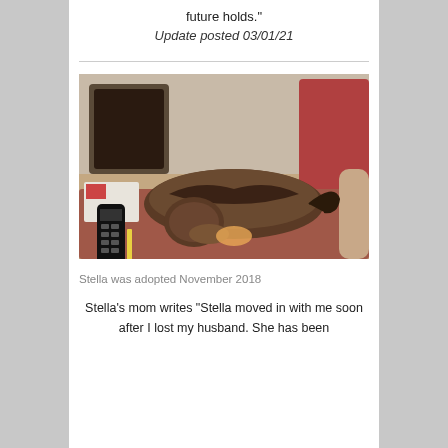future holds.”
Update posted 03/01/21
[Figure (photo): A cat lying stretched out on a reddish-pink sofa cushion next to a TV remote control, with a fireplace and furniture visible in the background]
Stella was adopted November 2018
Stella’s mom writes “Stella moved in with me soon after I lost my husband. She has been